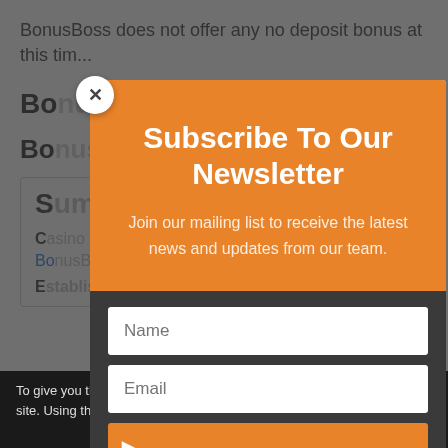BonusBoss does not offer any no deposit bonus at this tim...
BonusBoss free spins
BonusBoss bonus codes
| Summary |
| --- |
| Casino Name: | Bo... |
| Established: |  |
[Figure (screenshot): Subscribe To Our Newsletter modal overlay with orange background, title, subtitle text, Name and Email input fields, and orange submit button]
To give you the best user experience we use cookies throughout our site. Using this site, means you agree to our privacy & cookie policy.